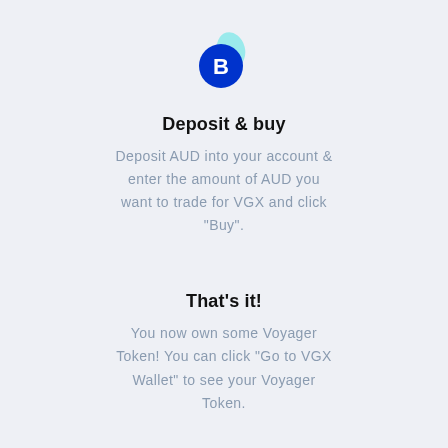[Figure (logo): Voyager/Bitcoin logo icon: a blue circle with white B symbol and a teal oval overlapping behind it]
Deposit & buy
Deposit AUD into your account & enter the amount of AUD you want to trade for VGX and click "Buy".
That's it!
You now own some Voyager Token! You can click "Go to VGX Wallet" to see your Voyager Token.